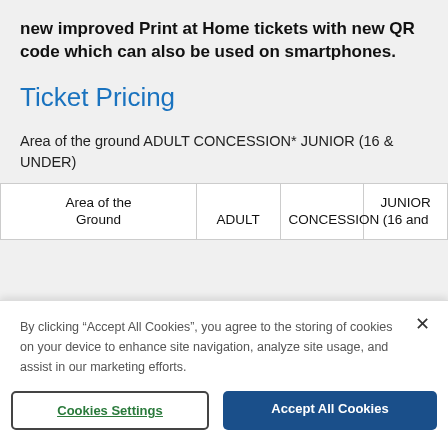new improved Print at Home tickets with new QR code which can also be used on smartphones.
Ticket Pricing
Area of the ground ADULT CONCESSION* JUNIOR (16 & UNDER)
| Area of the Ground | ADULT | CONCESSION | JUNIOR (16 and under) |
| --- | --- | --- | --- |
By clicking “Accept All Cookies”, you agree to the storing of cookies on your device to enhance site navigation, analyze site usage, and assist in our marketing efforts.